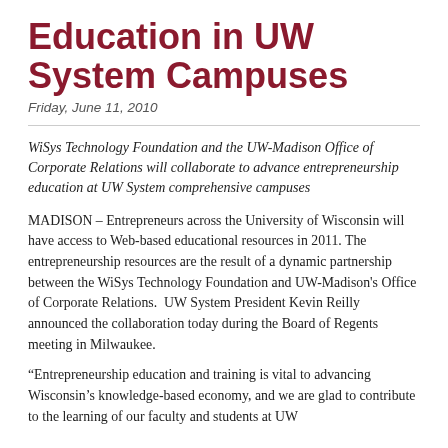Education in UW System Campuses
Friday, June 11, 2010
WiSys Technology Foundation and the UW-Madison Office of Corporate Relations will collaborate to advance entrepreneurship education at UW System comprehensive campuses
MADISON – Entrepreneurs across the University of Wisconsin will have access to Web-based educational resources in 2011. The entrepreneurship resources are the result of a dynamic partnership between the WiSys Technology Foundation and UW-Madison's Office of Corporate Relations.  UW System President Kevin Reilly announced the collaboration today during the Board of Regents meeting in Milwaukee.
“Entrepreneurship education and training is vital to advancing Wisconsin’s knowledge-based economy, and we are glad to contribute to the learning of our faculty and students at UW